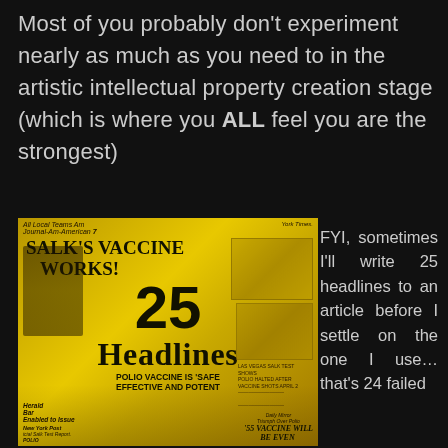Most of you probably don't experiment nearly as much as you need to in the artistic intellectual property creation stage (which is where you ALL feel you are the strongest)
[Figure (photo): Vintage newspaper collage image with yellow/sepia tone showing headlines including 'SALK'S VACCINE WORKS!', '25 Headlines', 'POLIO VACCINE IS SAFE EFFECTIVE AND POTENT', '55 VACCINE WILL BE EVEN...' etc.]
FYI, sometimes I'll write 25 headlines to an article before I settle on the one I use... that's 24 failed